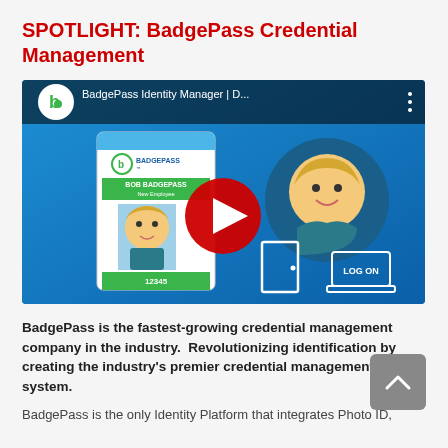SPOTLIGHT: BadgePass Credential Management
[Figure (screenshot): YouTube video thumbnail for 'BadgePass Identity Manager | D...' showing a BadgePass ID card with a cartoon employee photo and the number 12345, a YouTube play button, a cartoon person's face in a circle, a door icon, and a 'LOG ON' laptop icon on a blue gradient background. The video title bar shows the BadgePass logo and three dots menu.]
BadgePass is the fastest-growing credential management company in the industry.  Revolutionizing identification by creating the industry's premier credential management system.
BadgePass is the only Identity Platform that integrates Photo ID,